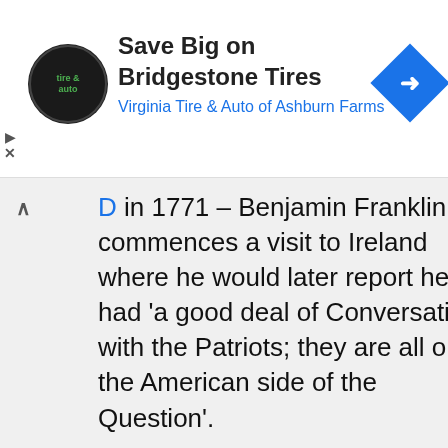[Figure (infographic): Top advertisement banner for Virginia Tire & Auto of Ashburn Farms featuring Bridgestone Tires. Circular logo on left, bold headline 'Save Big on Bridgestone Tires', subtitle 'Virginia Tire & Auto of Ashburn Farms' in blue, blue diamond arrow icon on right.]
D in 1771 – Benjamin Franklin commences a visit to Ireland where he would later report he had 'a good deal of Conversation with the Patriots; they are all on the American side of the Question'.
Read more 🔗
wp.me/p3XCMr-j1G
[Figure (infographic): Infolinks advertisement bar with dark gradient background]
[Figure (infographic): Bottom advertisement for Wayfair Online Home Store for Furniture. Product image on left, headline 'Online Home Store for Furniture', description 'Shop Wayfair for A Zillion Things Home across all styles', URL www.wayfair.com, blue circular arrow CTA button on right.]